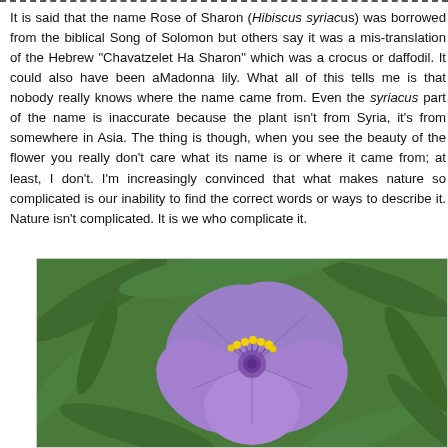It is said that the name Rose of Sharon (Hibiscus syriacus) was borrowed from the biblical Song of Solomon but others say it was a mis-translation of the Hebrew "Chavatzelet Ha Sharon" which was a crocus or daffodil. It could also have been a Madonna lily. What all of this tells me is that nobody really knows where the name came from. Even the syriacus part of the name is inaccurate because the plant isn't from Syria, it's from somewhere in Asia. The thing is though, when you see the beauty of the flower you really don't care what its name is or where it came from; at least, I don't. I'm increasingly convinced that what makes nature so complicated is our inability to find the correct words or ways to describe it. Nature isn't complicated. It is we who complicate it.
[Figure (photo): Close-up photo of a purple flower (spiderwort or similar) with yellow stamens against a green leafy background.]